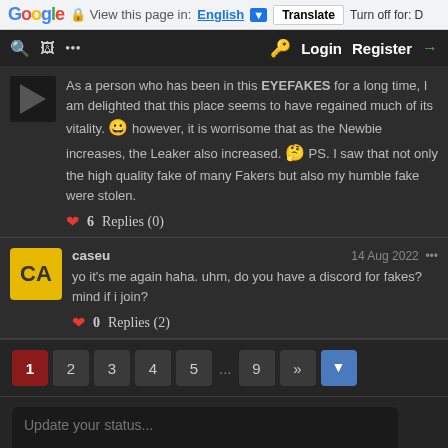Google | View this page in: English | Translate | Turn off for: D
Login  Register
As a person who has been in this EYEFAKES for a long time, I am delighted that this place seems to have regained much of its vitality. 😀 however, it is worrisome that as the Newbie increases, the Leaker also increased. 🤔 PS. I saw that not only the high quality fake of many Fakers but also my humble fake were stolen.
❤ 6   Replies (0)
caseu   14 Aug 2022  ...
yo it's me again haha. uhm, do you have a discord for fakes? mind if i join?
❤ 0   Replies (2)
1  2  3  4  5  ...  9  »  ▼
Update your status...